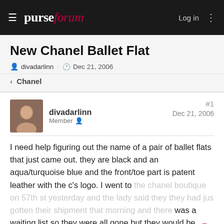purseforum — Log in
New Chanel Ballet Flat
divadarlinn · Dec 21, 2006
< Chanel
divadarlinn
Member
#1
Dec 21, 2006
I need help figuring out the name of a pair of ballet flats that just came out. they are black and an aqua/turquoise blue and the front/toe part is patent leather with the c's logo. I went to the chanel boutique on 57th st yesterday and the lady said they they had jus gotten their shipment that morning and there was a waiting list so they were all gone but they would be getting more and other boutiques had not recieved them yet so